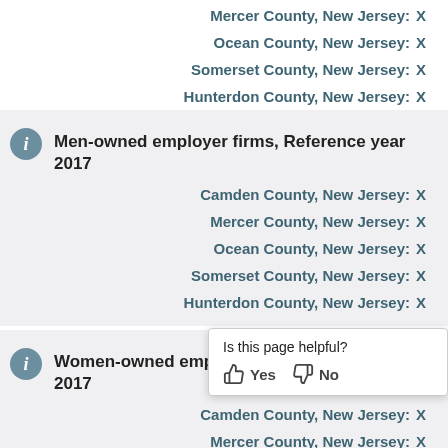Mercer County, New Jersey: X
Ocean County, New Jersey: X
Somerset County, New Jersey: X
Hunterdon County, New Jersey: X
Men-owned employer firms, Reference year 2017
Camden County, New Jersey: X
Mercer County, New Jersey: X
Ocean County, New Jersey: X
Somerset County, New Jersey: X
Hunterdon County, New Jersey: X
Women-owned employer firms, Reference year 2017
Camden County, New Jersey: X
Mercer County, New Jersey: X
Ocean County, New Jersey: X
Is this page helpful? Yes No